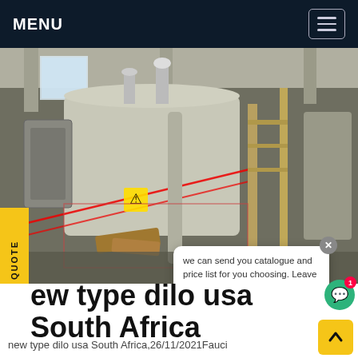MENU
[Figure (photo): Industrial facility interior showing large cylindrical SF6 gas equipment/transformers, pipes, control panels, scaffolding, and warning signs with a chat popup overlay showing 'we can send you catalogue and price list for you choosing. Leave us your email or whatsapp.']
new type dilo usa South Africa
new type dilo usa South Africa,26/11/2021Fauci